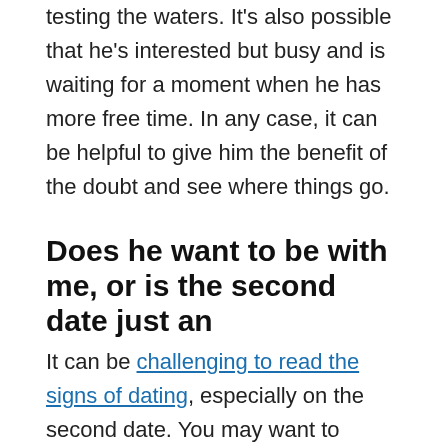testing the waters. It's also possible that he's interested but busy and is waiting for a moment when he has more free time. In any case, it can be helpful to give him the benefit of the doubt and see where things go.
Does he want to be with me, or is the second date just an
It can be challenging to read the signs of dating, especially on the second date. You may want to interpret every action and gesture as an indication of romantic feelings, but in reality, that may not be the case. Perhaps your date is less interested in being